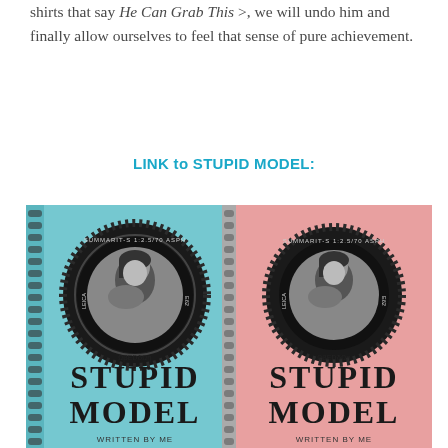shirts that say He Can Grab This >, we will undo him and finally allow ourselves to feel that sense of pure achievement.
LINK to STUPID MODEL:
[Figure (photo): Two spiral-bound notebooks side by side. Left notebook has a light blue cover, right notebook has a pink cover. Each cover features a large circular camera lens graphic (labeled SUMMARIT-S 1:2.5/70 ASPH and LEICA) with a black-and-white portrait of a young woman inside the lens circle. Below each lens image the text reads STUPID MODEL in large stylized letters, with WRITTEN BY ME underneath in smaller handwritten-style text.]